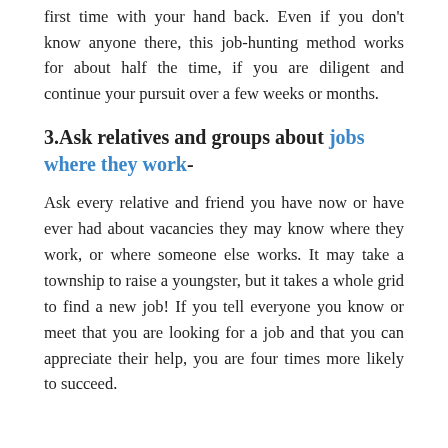first time with your hand back. Even if you don't know anyone there, this job-hunting method works for about half the time, if you are diligent and continue your pursuit over a few weeks or months.
3.Ask relatives and groups about jobs where they work-
Ask every relative and friend you have now or have ever had about vacancies they may know where they work, or where someone else works. It may take a township to raise a youngster, but it takes a whole grid to find a new job! If you tell everyone you know or meet that you are looking for a job and that you can appreciate their help, you are four times more likely to succeed.